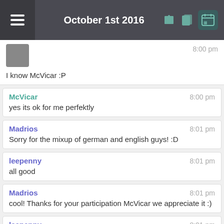October 1st 2016
I know McVicar :P — 8:00 pm
McVicar — 8:00 pm — yes its ok for me perfektly
Madrios — 8:01 pm — Sorry for the mixup of german and english guys! :D
leepenny — 8:01 pm — all good
Madrios — 8:01 pm — cool! Thanks for your participation McVicar we appreciate it :)
leepenny — 8:01 pm — no problem - its when the russian starts I struggle a bit